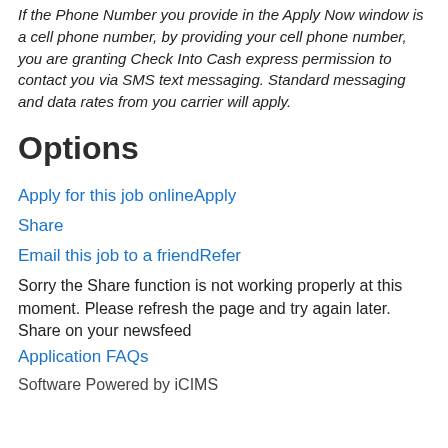If the Phone Number you provide in the Apply Now window is a cell phone number, by providing your cell phone number, you are granting Check Into Cash express permission to contact you via SMS text messaging. Standard messaging and data rates from you carrier will apply.
Options
Apply for this job onlineApply
Share
Email this job to a friendRefer
Sorry the Share function is not working properly at this moment. Please refresh the page and try again later. Share on your newsfeed
Application FAQs
Software Powered by iCIMS